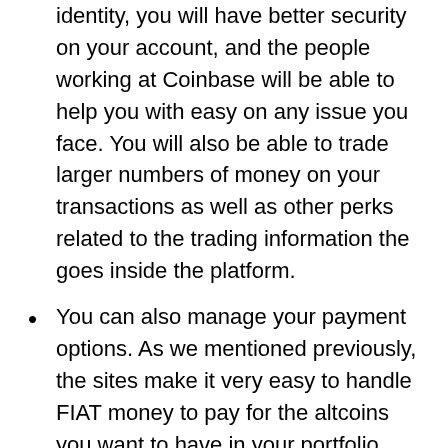identity, you will have better security on your account, and the people working at Coinbase will be able to help you with easy on any issue you face. You will also be able to trade larger numbers of money on your transactions as well as other perks related to the trading information the goes inside the platform.
You can also manage your payment options. As we mentioned previously, the sites make it very easy to handle FIAT money to pay for the altcoins you want to have in your portfolio. You can check in your bank account to make direct deposits or withdrawals. While this method is excellent, it takes at least two days to verify it on Coinbase's end. You can also register your credit cards, debit cards, and even your PayPal account in